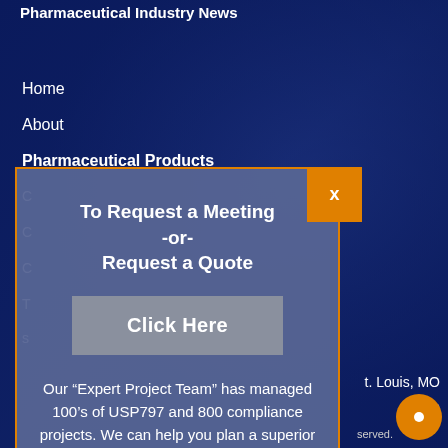Pharmaceutical Industry News
Home
About
Pharmaceutical Products
. Louis, MO
served.
[Figure (screenshot): Modal popup dialog with orange border and close button. Contains text 'To Request a Meeting -or- Request a Quote', a 'Click Here' button, and body text about Expert Project Team.]
To Request a Meeting -or- Request a Quote
Click Here
Our “Expert Project Team” has managed 100’s of USP797 and 800 compliance projects. We can help you plan a superior solution!